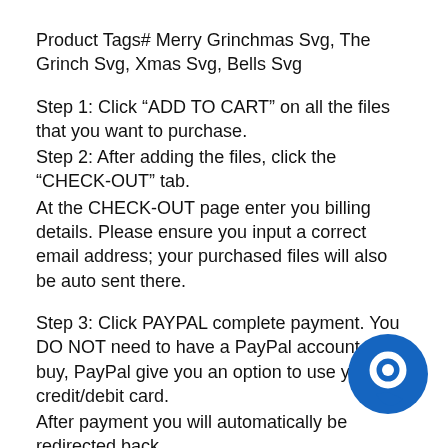Product Tags# Merry Grinchmas Svg, The Grinch Svg, Xmas Svg, Bells Svg
Step 1: Click “ADD TO CART” on all the files that you want to purchase.
Step 2: After adding the files, click the “CHECK-OUT” tab.
At the CHECK-OUT page enter you billing details. Please ensure you input a correct email address; your purchased files will also be auto sent there.
Step 3: Click PAYPAL complete payment. You DO NOT need to have a PayPal account to buy, PayPal give you an option to use your credit/debit card.
After payment you will automatically be redirected back